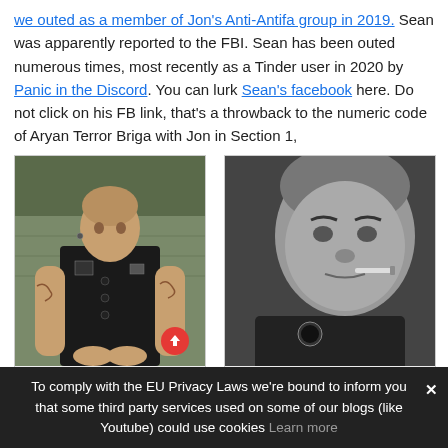we outed as a member of Jon’s Anti-Antifa group in 2019. Sean was apparently reported to the FBI. Sean has been outed numerous times, most recently as a Tinder user in 2020 by Panic in the Discord. You can lurk Sean’s facebook here. Do not click on his FB link, that’s a throwback to the numeric code of Aryan Terror Briga… with Jon in Section 1,
[Figure (photo): Tinder profile screenshot of Sean, 29, Line Cook. Shows a tattooed man in a black vest/jacket with patches, standing outdoors. A red download button is visible on the card.]
[Figure (photo): Second Tinder profile screenshot of Sean, 29, Line Cook, shown in black and white/grayscale. Man with shaved head smoking a cigarette, wearing a black jacket with a pin.]
To comply with the EU Privacy Laws we're bound to inform you that some third party services used on some of our blogs (like Youtube) could use cookies Learn more